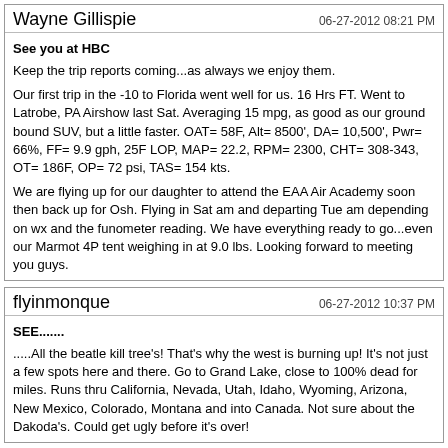Wayne Gillispie
06-27-2012 08:21 PM
See you at HBC
Keep the trip reports coming...as always we enjoy them.
Our first trip in the -10 to Florida went well for us. 16 Hrs FT. Went to Latrobe, PA Airshow last Sat. Averaging 15 mpg, as good as our ground bound SUV, but a little faster. OAT= 58F, Alt= 8500', DA= 10,500', Pwr= 66%, FF= 9.9 gph, 25F LOP, MAP= 22.2, RPM= 2300, CHT= 308-343, OT= 186F, OP= 72 psi, TAS= 154 kts.
We are flying up for our daughter to attend the EAA Air Academy soon then back up for Osh. Flying in Sat am and departing Tue am depending on wx and the funometer reading. We have everything ready to go...even our Marmot 4P tent weighing in at 9.0 lbs. Looking forward to meeting you guys.
flyinmonque
06-27-2012 10:37 PM
SEE.......
.....All the beatle kill tree's! That's why the west is burning up! It's not just a few spots here and there. Go to Grand Lake, close to 100% dead for miles. Runs thru California, Nevada, Utah, Idaho, Wyoming, Arizona, New Mexico, Colorado, Montana and into Canada. Not sure about the Dakoda's. Could get ugly before it's over!